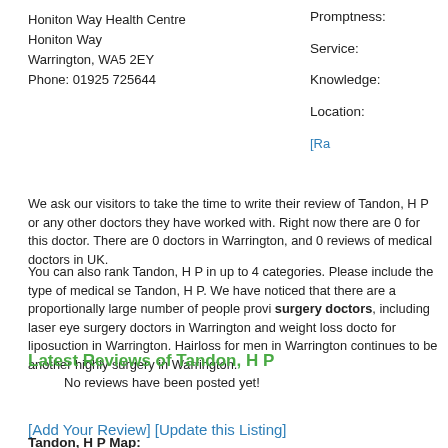Honiton Way Health Centre
Honiton Way
Warrington, WA5 2EY
Phone: 01925 725644
Promptness:
Service:
Knowledge:
Location:
[Ra
We ask our visitors to take the time to write their review of Tandon, H P or any other doctors they have worked with. Right now there are 0 for this doctor. There are 0 doctors in Warrington, and 0 reviews of medical doctors in UK.
You can also rank Tandon, H P in up to 4 categories. Please include the type of medical se Tandon, H P. We have noticed that there are a proportionally large number of people provi surgery doctors, including laser eye surgery doctors in Warrington and weight loss docto for liposuction in Warrington. Hairloss for men in Warrington continues to be another highly surgery in Warrington.
Latest Reviews of Tandon, H P
No reviews have been posted yet!
[Add Your Review] [Update this Listing]
Tandon, H P Map: